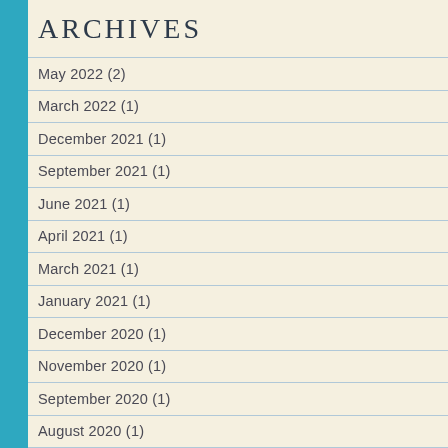Archives
May 2022 (2)
March 2022 (1)
December 2021 (1)
September 2021 (1)
June 2021 (1)
April 2021 (1)
March 2021 (1)
January 2021 (1)
December 2020 (1)
November 2020 (1)
September 2020 (1)
August 2020 (1)